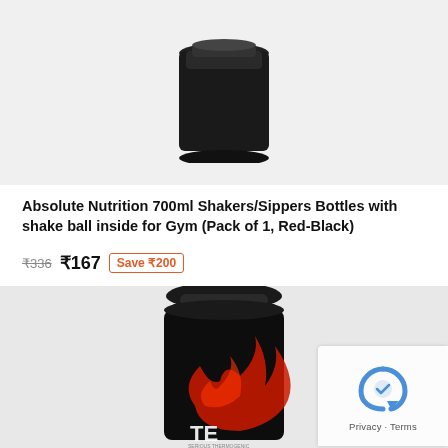[Figure (photo): Top portion of a dark/black shaker bottle with shake ball, cropped at top]
Absolute Nutrition 700ml Shakers/Sippers Bottles with shake ball inside for Gym (Pack of 1, Red-Black)
₹336  ₹167  Save ₹200
[Figure (photo): Black supplement bottle with dark label featuring red fire/flame design and text 'TE' visible at bottom, serious thermogenic product]